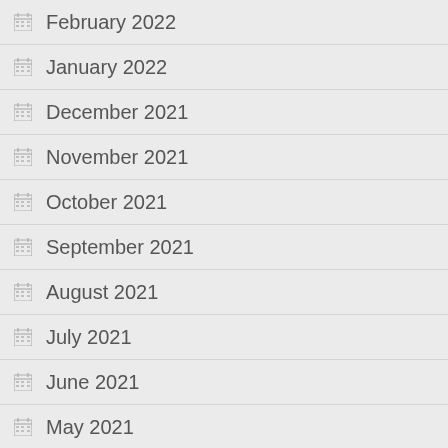February 2022
January 2022
December 2021
November 2021
October 2021
September 2021
August 2021
July 2021
June 2021
May 2021